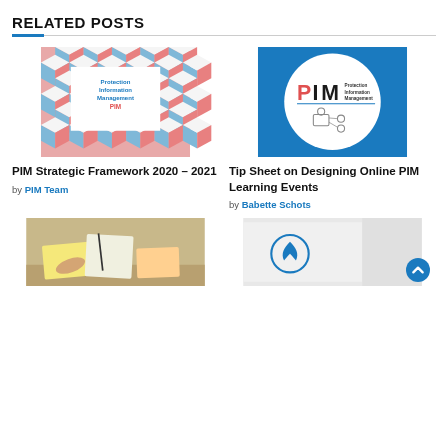RELATED POSTS
[Figure (illustration): PIM Strategic Framework cover image with geometric pink and blue cube pattern border and white center with text 'Protection Information Management PIM']
[Figure (logo): PIM logo on blue background with white circle, showing 'PIM Protection Information Management' text and network/people icon]
PIM Strategic Framework 2020 – 2021
by PIM Team
Tip Sheet on Designing Online PIM Learning Events
by Babette Schots
[Figure (photo): Photo of person writing/drawing at a desk with colorful papers]
[Figure (photo): Photo of people with UNHCR logo visible on white fabric, person in background]